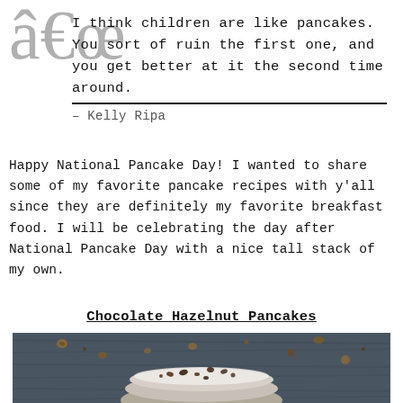â€œ
I think children are like pancakes. You sort of ruin the first one, and you get better at it the second time around.
– Kelly Ripa
Happy National Pancake Day! I wanted to share some of my favorite pancake recipes with y'all since they are definitely my favorite breakfast food. I will be celebrating the day after National Pancake Day with a nice tall stack of my own.
Chocolate Hazelnut Pancakes
[Figure (photo): Overhead photo of a stack of chocolate hazelnut pancakes on a dark blue-gray wooden surface, topped with powdered sugar and chocolate hazelnut pieces scattered around.]